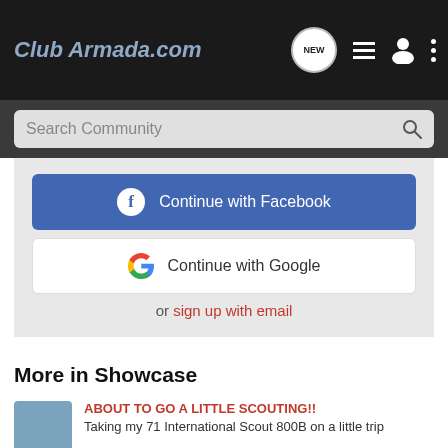Club Armada.com
Search Community
[Figure (screenshot): Continue with Facebook button (blue)]
[Figure (screenshot): Continue with Google button (white)]
or sign up with email
More in Showcase
ABOUT TO GO A LITTLE SCOUTING!! Taking my 71 International Scout 800B on a little trip
primoV8's 2014 Infiniti QX80 QX80 daily-driven